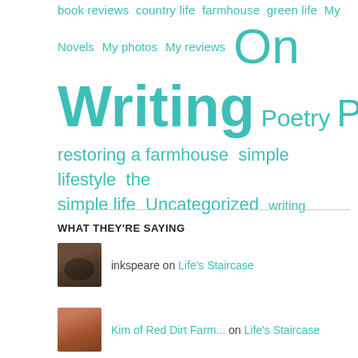[Figure (infographic): Tag cloud with teal/turquoise colored category links of varying sizes: book reviews, country life, farmhouse, green life, My, Novels, My photos, My reviews, On (large), Writing (very large bold), Poetry, Ponderable (large), restoring a farmhouse, simple lifestyle, the simple life, Uncategorized, writing]
WHAT THEY'RE SAYING
inkspeare on Life's Staircase
Kim of Red Dirt Farm... on Life's Staircase